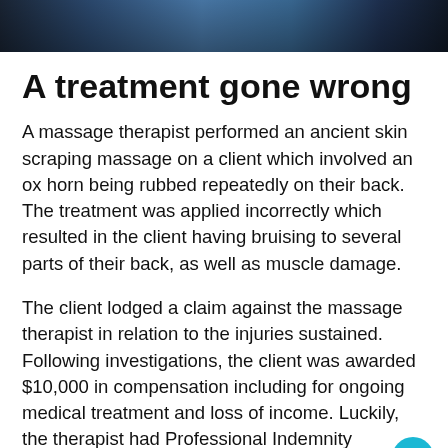[Figure (photo): Cropped photo of a person receiving a back massage treatment, showing hands and back area with dark/blue tones]
A treatment gone wrong
A massage therapist performed an ancient skin scraping massage on a client which involved an ox horn being rubbed repeatedly on their back. The treatment was applied incorrectly which resulted in the client having bruising to several parts of their back, as well as muscle damage.
The client lodged a claim against the massage therapist in relation to the injuries sustained. Following investigations, the client was awarded $10,000 in compensation including for ongoing medical treatment and loss of income. Luckily, the therapist had Professional Indemnity insurance to pick up the bill!